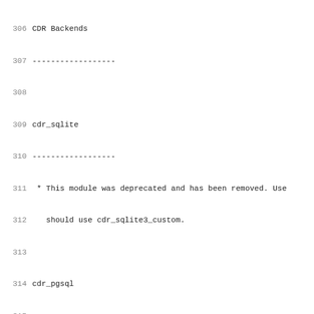306 CDR Backends
307 ------------------
308
309 cdr_sqlite
310 ------------------
311  * This module was deprecated and has been removed. Use should use cdr_sqlite3_custom.
312    should use cdr_sqlite3_custom.
313
314 cdr_pgsql
315 ------------------
316  * Added the ability to support PostgreSQL application_
317    This allows PostgreSQL to display the configured nam
318    pg_stat_activity view and CSV log entries. This sett
319    for cdr_pgsql via the appname configuration setting
320
321
322 CEL Backends
323 ------------------
324
325 cel_pgsql
326 ------------------
327  * Added the ability to support PostgreSQL application_
328    This allows PostgreSQL to display the configured nam
329    pg_stat_activity view and CSV log entries. This sett
330    for cel_pgsql via the appname configuration setting
331
332
333 Channel Drivers
334 ------------------
335
336 chan_dahdi
337 ------------------
338  * SS7 support now requires libss7 v2.0 or later